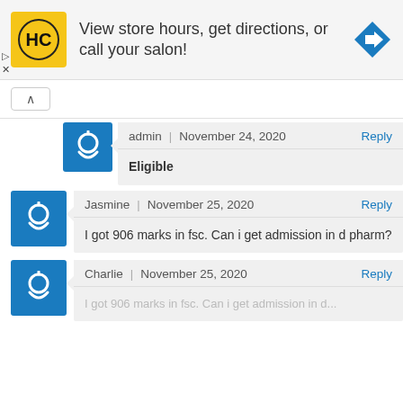[Figure (screenshot): Advertisement banner: HC salon logo (yellow square with HC text), text 'View store hours, get directions, or call your salon!', blue diamond direction arrow icon. Ad controls with play and X icons at bottom left.]
admin | November 24, 2020   Reply
Eligible
Jasmine | November 25, 2020   Reply
I got 906 marks in fsc. Can i get admission in d pharm?
Charlie | November 25, 2020   Reply